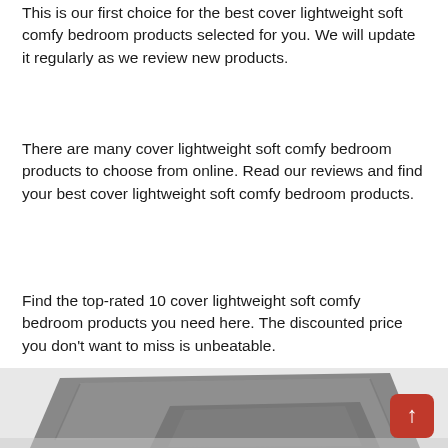This is our first choice for the best cover lightweight soft comfy bedroom products selected for you. We will update it regularly as we review new products.
There are many cover lightweight soft comfy bedroom products to choose from online. Read our reviews and find your best cover lightweight soft comfy bedroom products.
Find the top-rated 10 cover lightweight soft comfy bedroom products you need here. The discounted price you don't want to miss is unbeatable.
[Figure (photo): Photo of grey/silver decorative pillow covers — a large rectangular pillow and a smaller square pillow stacked, shown in muted grey fabric. A red back-to-top button with an upward arrow is overlaid in the bottom-right corner.]